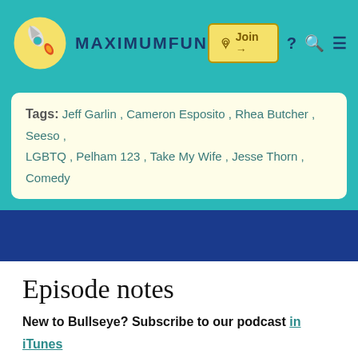MAXIMUMFUN — Join → ? Q ☰
Tags: Jeff Garlin , Cameron Esposito , Rhea Butcher , Seeso , LGBTQ , Pelham 123 , Take My Wife , Jesse Thorn , Comedy
Episode notes
New to Bullseye? Subscribe to our podcast in iTunes or with your favorite podcatcher to make sure you automatically get the newest episode every week.
[Figure (photo): A person wearing a blue LA Dodgers baseball cap]